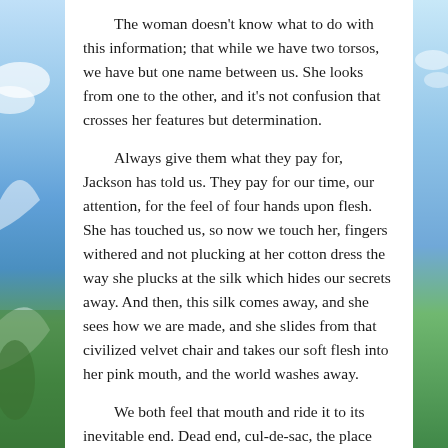[Figure (illustration): Fantasy illustration background on left side showing sky with clouds, mountains, and angelic/winged figures in blue and green tones]
The woman doesn't know what to do with this information; that while we have two torsos, we have but one name between us. She looks from one to the other, and it's not confusion that crosses her features but determination.

Always give them what they pay for, Jackson has told us. They pay for our time, our attention, for the feel of four hands upon flesh. She has touched us, so now we touch her, fingers withered and not plucking at her cotton dress the way she plucks at the silk which hides our secrets away. And then, this silk comes away, and she sees how we are made, and she slides from that civilized velvet chair and takes our soft flesh into her pink mouth, and the world washes away.

We both feel that mouth and ride it to its inevitable end. Dead end, cul-de-sac, the place where all curls into a tight ball before it springs